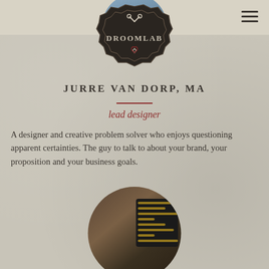[Figure (logo): Droomlab badge logo with scissors icon, DROOMLAB text, and decorative heart/code symbol]
[Figure (photo): Circular profile photo of a person (top, partially visible)]
JURRE VAN DORP, MA
lead designer
A designer and creative problem solver who enjoys questioning apparent certainties. The guy to talk to about your brand, your proposition and your business goals.
[Figure (photo): Circular photo of a person with dark hair, computer code screen visible in background]